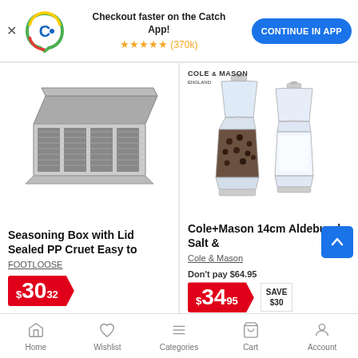Checkout faster on the Catch App! ★★★★★ (370k) CONTINUE IN APP
[Figure (photo): Seasoning box with lid, grey PP cruet with 4 compartments and a hinged lid, shown open]
Seasoning Box with Lid Sealed PP Cruet Easy to
FOOTLOOSE
$30.32
[Figure (photo): Cole & Mason 14cm Aldeburgh salt and pepper mill set, two clear acrylic/glass grinders, one with black peppercorns, one with white salt]
Cole+Mason 14cm Aldeburgh Salt &
Cole & Mason
Don't pay $64.95
$34.95 SAVE $30
Home   Wishlist   Categories   Cart   Account